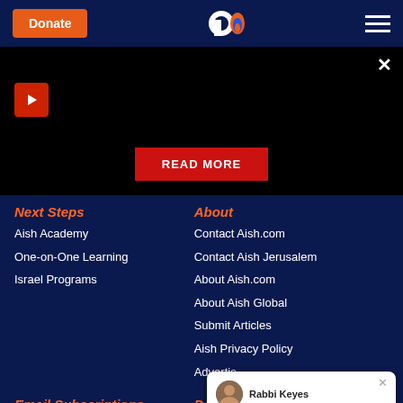Donate | Aish.com logo | hamburger menu
[Figure (screenshot): Black video player area with play button, close X, and READ MORE button]
Next Steps
Aish Academy
One-on-One Learning
Israel Programs
About
Contact Aish.com
Contact Aish Jerusalem
About Aish.com
About Aish Global
Submit Articles
Aish Privacy Policy
Advertis…
Email Subscriptions
Email Sign-up
Donate
Aish.com Website
[Figure (screenshot): Chat popup with Rabbi Keyes avatar saying Shalom! Do you have a question? I'm online now. Ask me here!]